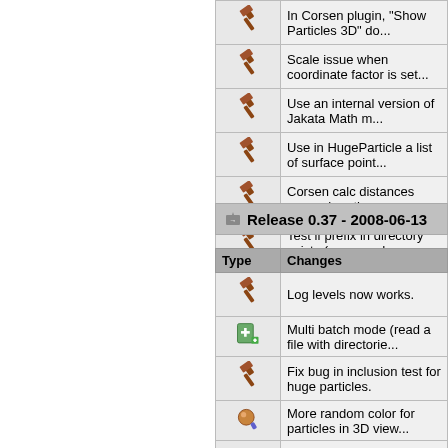| [hammer] | In Corsen plugin, "Show Particles 3D" do... |
| [hammer] | Scale issue when coordinate factor is set... |
| [hammer] | Use an internal version of Jakata Math m... |
| [hammer] | Use in HugeParticle a list of surface point... |
| [hammer] | Corsen calc distances even when the nu... |
| [hammer] | Test if prefix in directory exists (command... |
| [hammer] | Load configuration file in command line b... |
Release 0.37 - 2008-06-13
| Type | Changes |
| --- | --- |
| [hammer] | Log levels now works. |
| [add] | Multi batch mode (read a file with directorie... |
| [hammer] | Fix bug in inclusion test for huge particles. |
| [paint] | More random color for particles in 3D view... |
| [paint] | Particles are more shining in 3D view. Add... |
| [paint] | Update documentation. |
| [paint] | Update multithread distance computation. |